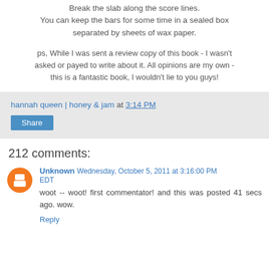Break the slab along the score lines.
You can keep the bars for some time in a sealed box separated by sheets of wax paper.
ps, While I was sent a review copy of this book - I wasn't asked or payed to write about it. All opinions are my own - this is a fantastic book, I wouldn't lie to you guys!
hannah queen | honey & jam at 3:14 PM
Share
212 comments:
Unknown Wednesday, October 5, 2011 at 3:16:00 PM EDT
woot -- woot! first commentator! and this was posted 41 secs ago. wow.
Reply